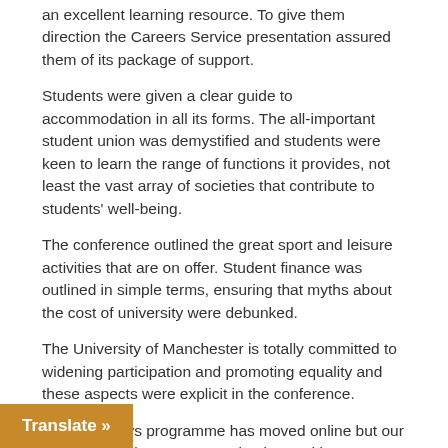an excellent learning resource. To give them direction the Careers Service presentation assured them of its package of support.
Students were given a clear guide to accommodation in all its forms. The all-important student union was demystified and students were keen to learn the range of functions it provides, not least the vast array of societies that contribute to students' well-being.
The conference outlined the great sport and leisure activities that are on offer. Student finance was outlined in simple terms, ensuring that myths about the cost of university were debunked.
The University of Manchester is totally committed to widening participation and promoting equality and these aspects were explicit in the conference.
The Gateways programme has moved online but our students in this Year 11 session learned in an effective way. Our students in Year 8 and 10
Translate »